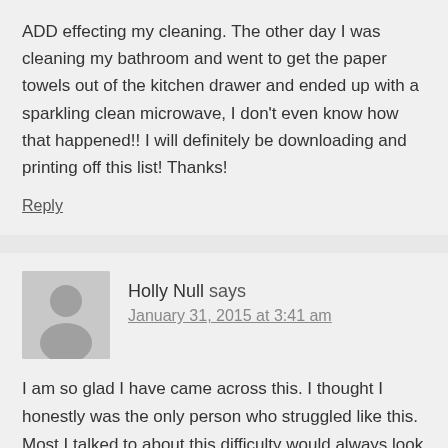ADD effecting my cleaning. The other day I was cleaning my bathroom and went to get the paper towels out of the kitchen drawer and ended up with a sparkling clean microwave, I don't even know how that happened!! I will definitely be downloading and printing off this list! Thanks!
Reply
Holly Null says
January 31, 2015 at 3:41 am
I am so glad I have came across this. I thought I honestly was the only person who struggled like this. Most I talked to about this difficulty would always look